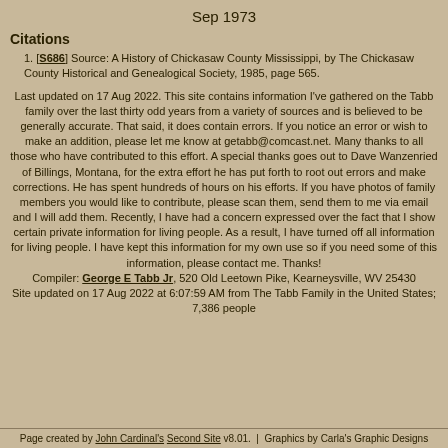Sep 1973
Citations
[S686] Source: A History of Chickasaw County Mississippi, by The Chickasaw County Historical and Genealogical Society, 1985, page 565.
Last updated on 17 Aug 2022. This site contains information I've gathered on the Tabb family over the last thirty odd years from a variety of sources and is believed to be generally accurate. That said, it does contain errors. If you notice an error or wish to make an addition, please let me know at getabb@comcast.net. Many thanks to all those who have contributed to this effort. A special thanks goes out to Dave Wanzenried of Billings, Montana, for the extra effort he has put forth to root out errors and make corrections. He has spent hundreds of hours on his efforts. If you have photos of family members you would like to contribute, please scan them, send them to me via email and I will add them. Recently, I have had a concern expressed over the fact that I show certain private information for living people. As a result, I have turned off all information for living people. I have kept this information for my own use so if you need some of this information, please contact me. Thanks! Compiler: George E Tabb Jr, 520 Old Leetown Pike, Kearneysville, WV 25430 Site updated on 17 Aug 2022 at 6:07:59 AM from The Tabb Family in the United States; 7,386 people
Page created by John Cardinal's Second Site v8.01. | Graphics by Carla's Graphic Designs